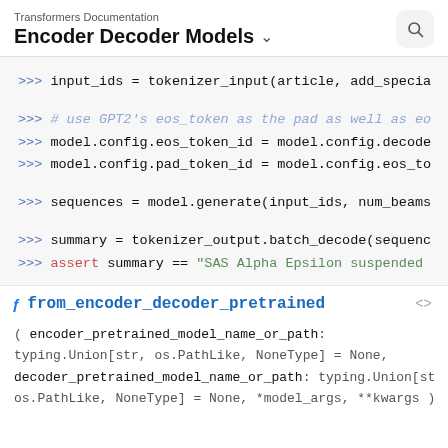Transformers Documentation
Encoder Decoder Models
>>> input_ids = tokenizer_input(article, add_specia
>>> # use GPT2's eos_token as the pad as well as eo
>>> model.config.eos_token_id = model.config.decode
>>> model.config.pad_token_id = model.config.eos_to
>>> sequences = model.generate(input_ids, num_beams
>>> summary = tokenizer_output.batch_decode(sequenc
>>> assert summary == "SAS Alpha Epsilon suspended
from_encoder_decoder_pretrained
( encoder_pretrained_model_name_or_path: typing.Union[str, os.PathLike, NoneType] = None, decoder_pretrained_model_name_or_path: typing.Union[str, os.PathLike, NoneType] = None, *model_args, **kwargs )